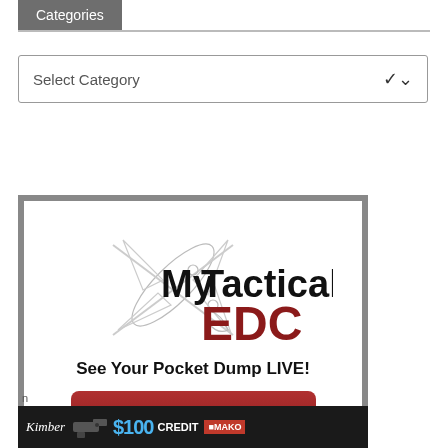Categories
[Figure (screenshot): Select Category dropdown widget with chevron arrow]
[Figure (illustration): MyTactical EDC advertisement banner with swiss army knife logo, 'See Your Pocket Dump LIVE!' text, and red CLICK HERE button]
[Figure (screenshot): Bottom dark advertisement banner showing Kimber logo, handgun image, $100 CREDIT text and MAKO badge]